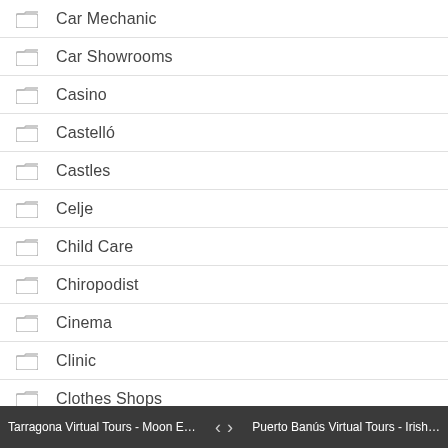Car Mechanic
Car Showrooms
Casino
Castelló
Castles
Celje
Child Care
Chiropodist
Cinema
Clinic
Clothes Shops
Computer Stores
Contractor
Convenience Store
Tarragona Virtual Tours - Moon E…   ‹  ›   Puerto Banús Virtual Tours - Irish…